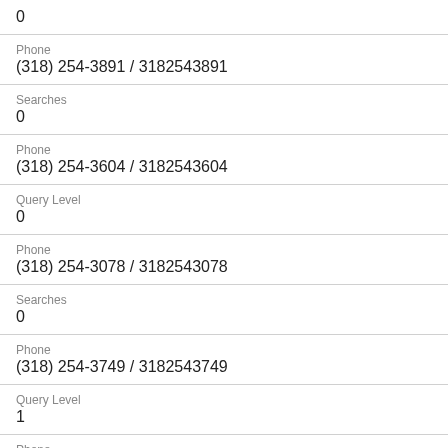0
Phone
(318) 254-3891 / 3182543891
Searches
0
Phone
(318) 254-3604 / 3182543604
Query Level
0
Phone
(318) 254-3078 / 3182543078
Searches
0
Phone
(318) 254-3749 / 3182543749
Query Level
1
Phone
(318) 254-3015 / 3182543015